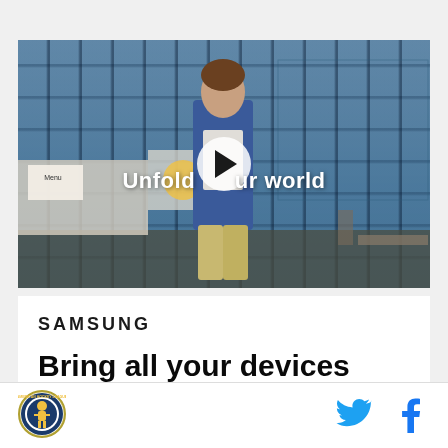[Figure (photo): Video thumbnail showing a young man in a denim jacket walking through a cafeteria/classroom setting with tiled blue windows in the background. A play button is overlaid in the center with the text 'Unfold your world'.]
SAMSUNG
Bring all your devices
[Figure (logo): Circular sports team logo (NHL/hockey related) with a player illustration]
[Figure (logo): Twitter bird icon in blue]
[Figure (logo): Facebook 'f' icon in blue]